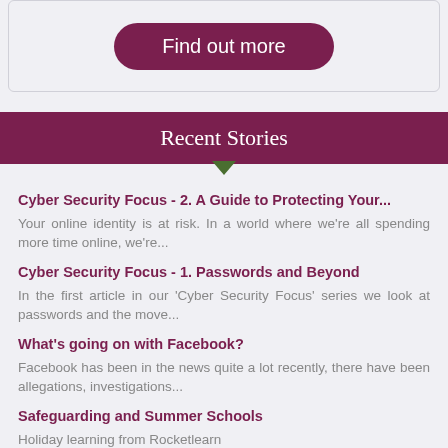[Figure (other): Button labeled 'Find out more' with rounded pill shape on light grey card]
Recent Stories
Cyber Security Focus - 2. A Guide to Protecting Your...
Your online identity is at risk. In a world where we're all spending more time online, we're...
Cyber Security Focus - 1. Passwords and Beyond
In the first article in our 'Cyber Security Focus' series we look at passwords and the move...
What's going on with Facebook?
Facebook has been in the news quite a lot recently, there have been allegations, investigations...
Safeguarding and Summer Schools
Holiday learning from Rocketlearn
Lack of training leaves teachers unable to deal with...
Teachers 'struggle to deal with classroom sexual abuse'